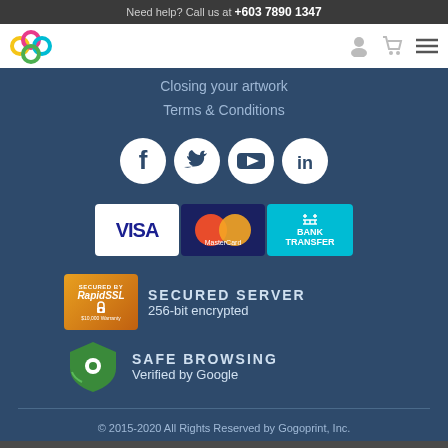Need help? Call us at +603 7890 1347
[Figure (logo): Gogoprint logo with colorful rings]
Closing your artwork
Terms & Conditions
[Figure (illustration): Social media icons: Facebook, Twitter, YouTube, LinkedIn]
[Figure (illustration): Payment method icons: VISA, MasterCard, Bank Transfer]
[Figure (illustration): RapidSSL Secured Server badge - SECURED SERVER 256-bit encrypted]
[Figure (illustration): Safe Browsing shield icon - SAFE BROWSING Verified by Google]
© 2015-2020 All Rights Reserved by Gogoprint, Inc.
Product Summary